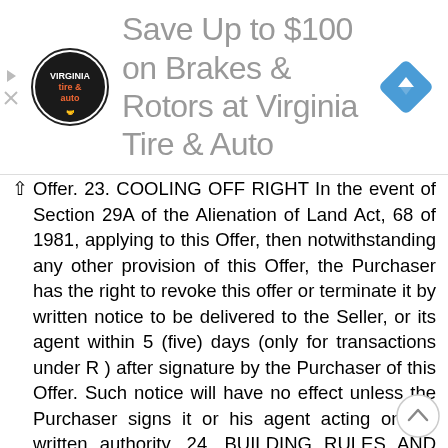[Figure (infographic): Advertisement banner for Virginia Tire & Auto showing circular logo with 'tire & auto' text, headline 'Save Up to $100 on Brakes & Rotors at Virginia Tire & Auto', and a blue navigation diamond icon. Small play and X icons on the left edge.]
Offer. 23. COOLING OFF RIGHT In the event of Section 29A of the Alienation of Land Act, 68 of 1981, applying to this Offer, then notwithstanding any other provision of this Offer, the Purchaser has the right to revoke this offer or terminate it by written notice to be delivered to the Seller, or its agent within 5 (five) days (only for transactions under R ) after signature by the Purchaser of this Offer. Such notice will have no effect unless the Purchaser signs it or his agent acting on his written authority. 24. BUILDING RULES AND BEING MEMBER OF THE HOA The purchaser agrees to become a member of the HOA/Body corporate should the property be located within an estate. To adhere to all the house rules and regulations as described in the MOI/Notices 25. SPECIAL CONDTIONS. SIGNED AND ACCEPTED AT. ON THIS THE DAY OF , in the presence of the undersigned witnesses. AS WITNESSES : SELLER 9 Please Initial every page..